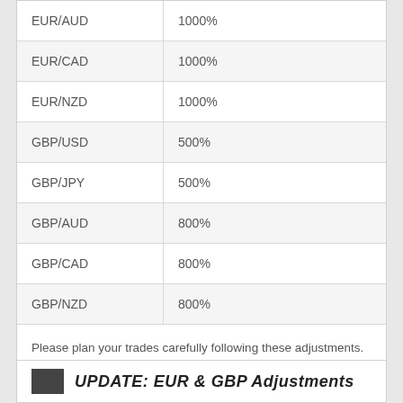| EUR/AUD | 1000% |
| EUR/CAD | 1000% |
| EUR/NZD | 1000% |
| GBP/USD | 500% |
| GBP/JPY | 500% |
| GBP/AUD | 800% |
| GBP/CAD | 800% |
| GBP/NZD | 800% |
Please plan your trades carefully following these adjustments.
UPDATE: EUR & GBP Adjustments